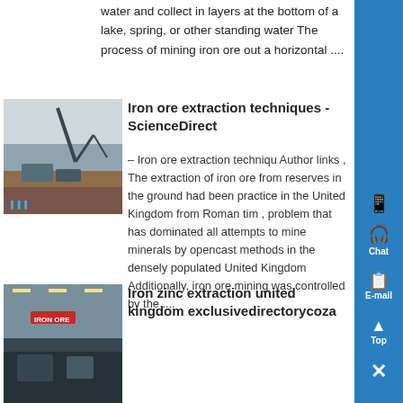water and collect in layers at the bottom of a lake, spring, or other standing water The process of mining iron ore out a horizontal ....
[Figure (photo): Outdoor photo of industrial mining/crushing equipment and machinery on a dirt surface under a cloudy sky, with a crane-like structure visible]
Iron ore extraction techniques - ScienceDirect
– Iron ore extraction techniqu Author links , The extraction of iron ore from reserves in the ground had been practiced in the United Kingdom from Roman tim , problem that has dominated all attempts to mine minerals by opencast methods in the densely populated United Kingdom Additionally, iron ore mining was controlled by the ....
[Figure (photo): Indoor photo of an industrial warehouse or processing facility with equipment and red signage]
Iron zinc extraction united kingdom exclusivedirectorycoza